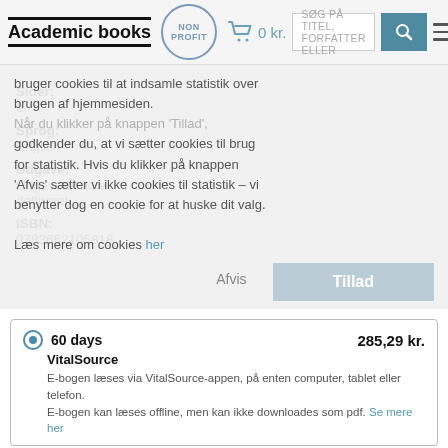Academic books | NON PROFIT | 0 kr. | SØG PÅ TITEL, FORFATTER ELLER
Du aktiverer cookies til at indsamle statistik over brugen af hjemmesiden. Når du klikker på knappen 'Tillad', godkender du, at vi sætter cookies til brug for statistik. Hvis du klikker på knappen 'Afvis' sætter vi ikke cookies til statistik – vi benytter dog en cookie for at huske dit valg. Læs mere om cookies her
Sider:
0
Sprog:
English
Udgave:
Udgave er ikke defineret
ISBN:
9783662105818
60 days   285,29 kr.
VitalSource
E-bogen læses via VitalSource-appen, på enten computer, tablet eller telefon.
E-bogen kan læses offline, men kan ikke downloades som pdf. Se mere her